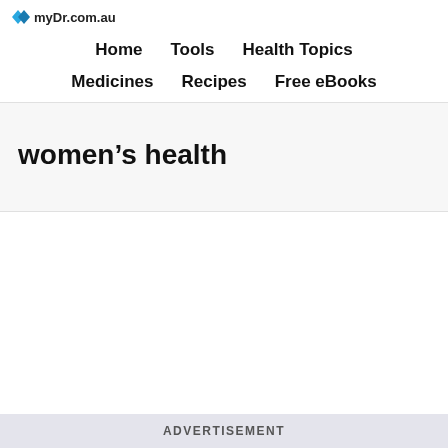myDr.com.au
Home   Tools   Health Topics   Medicines   Recipes   Free eBooks
women’s health
ADVERTISEMENT